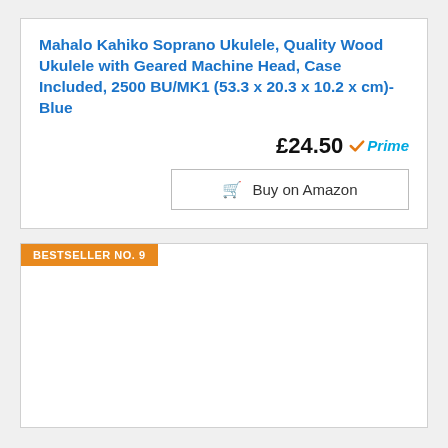Mahalo Kahiko Soprano Ukulele, Quality Wood Ukulele with Geared Machine Head, Case Included, 2500 BU/MK1 (53.3 x 20.3 x 10.2 x cm)- Blue
£24.50 Prime
Buy on Amazon
BESTSELLER NO. 9